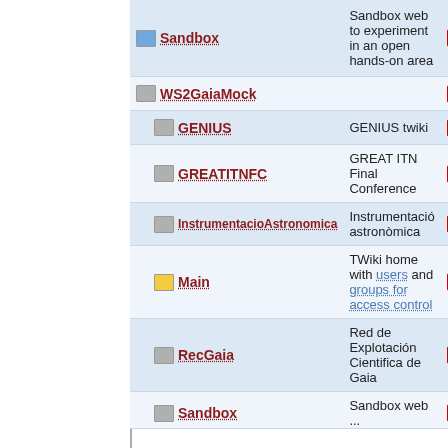| Name | Description | Actions |
| --- | --- | --- |
| Sandbox | Sandbox web to experiment in an open hands-on area |  |
| WS2GaiaMock |  |  |
| GENIUS | GENIUS twiki |  |
| GREATITNFC | GREAT ITN Final Conference |  |
| InstrumentacioAstronomica | Instrumentació astronòmica |  |
| Main | TWiki home with users and groups for access control |  |
| RecGaia | Red de Explotación Cientifica de Gaia |  |
| Sandbox | Sandbox web ... |  |